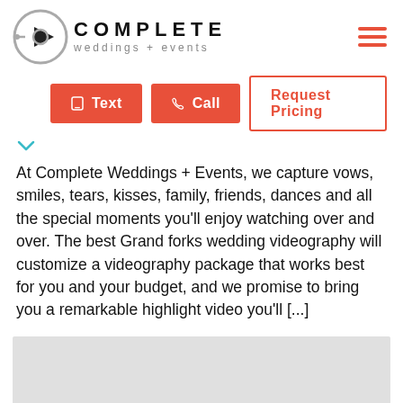[Figure (logo): Complete Weddings + Events logo with circular play button icon and company name text]
Text   Call   Request Pricing
At Complete Weddings + Events, we capture vows, smiles, tears, kisses, family, friends, dances and all the special moments you'll enjoy watching over and over. The best Grand forks wedding videography will customize a videography package that works best for you and your budget, and we promise to bring you a remarkable highlight video you'll [...]
[Figure (map): Gray map placeholder area]